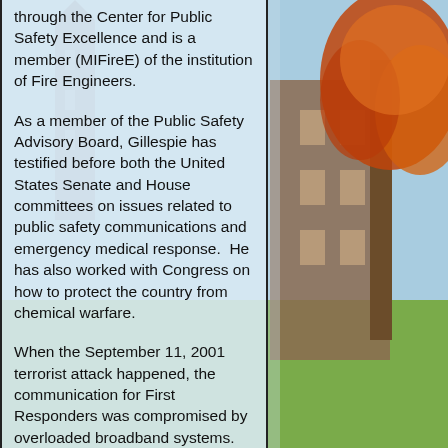[Figure (photo): Autumn campus scene with a brick building and a tree with orange/red fall foliage against a blue sky, with green lawn visible at the bottom.]
through the Center for Public Safety Excellence and is a member (MIFireE) of the institution of Fire Engineers.
As a member of the Public Safety Advisory Board, Gillespie has testified before both the United States Senate and House committees on issues related to public safety communications and emergency medical response.  He has also worked with Congress on how to protect the country from chemical warfare.
When the September 11, 2001 terrorist attack happened, the communication for First Responders was compromised by overloaded broadband systems. The result was more chaos and frustration during critical times.  Gillespie was a pioneer team member in implementing a dedicated broadband system for First Responders.  This system makes it possible for First